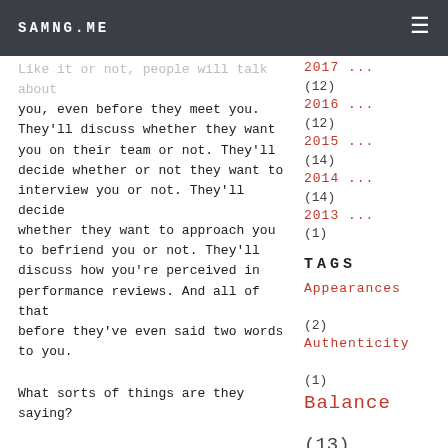SAMNG.ME
Like it or not, people will talk about you, even before they meet you. They'll discuss whether they want you on their team or not. They'll decide whether or not they want to interview you or not. They'll decide whether they want to approach you to befriend you or not. They'll discuss how you're perceived in performance reviews. And all of that before they've even said two words to you.
What sorts of things are they saying?
What do you think about when I say
2017 ... (12)
2016 ... (12)
2015 ... (14)
2014 ... (14)
2013 ... (1)
TAGS
Appearances (2)
Authenticity (1)
Balance (13)
Beauty (1)
Books (3)
Brotherhood